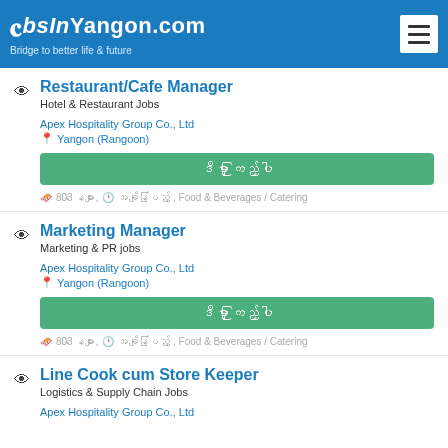JobsInYangon.com — Bridge to better life & future
Restaurant/Cafe Manager
Hotel & Restaurant Jobs
Apex Hospitality Group Co., Ltd
Yangon (Rangoon)
ဒီမှာ ကြည့်ပါ
803 နေများ, အချိန်ပြည့် , Food & Beverages / Catering
Marketing Manager
Marketing & PR jobs
Apex Hospitality Group Co., Ltd
Yangon (Rangoon)
ဒီမှာ ကြည့်ပါ
803 နေများ, အချိန်ပြည့် , Food & Beverages / Catering
Line Cook cum Store Keeper
Logistics & Supply Chain Jobs
Apex Hospitality Group Co., Ltd